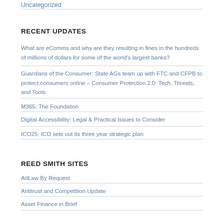Uncategorized
RECENT UPDATES
What are eComms and why are they resulting in fines in the hundreds of millions of dollars for some of the world's largest banks?
Guardians of the Consumer: State AGs team up with FTC and CFPB to protect consumers online – Consumer Protection 2.0: Tech, Threats, and Tools
M365: The Foundation
Digital Accessibility: Legal & Practical Issues to Consider
ICO25: ICO sets out its three year strategic plan
REED SMITH SITES
AdLaw By Request
Antitrust and Competition Update
Asset Finance in Brief